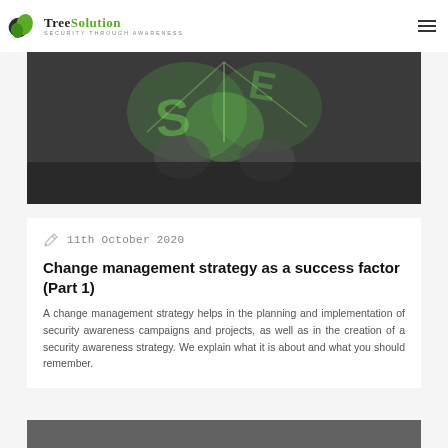TreeSolution — Security Through Awareness
[Figure (photo): Abstract cybersecurity hero image with green glowing holographic letters and figures on a dark background]
11th October 2020
Change management strategy as a success factor (Part 1)
A change management strategy helps in the planning and implementation of security awareness campaigns and projects, as well as in the creation of a security awareness strategy. We explain what it is about and what you should remember.
[Figure (photo): Partial bottom strip of another article image]